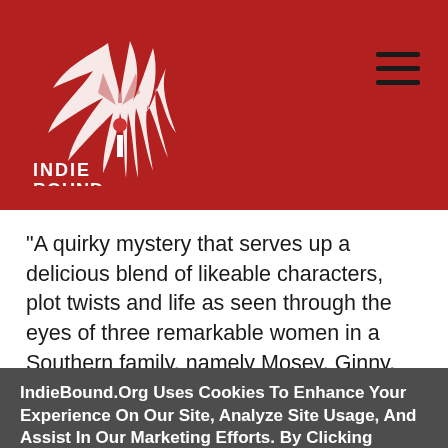[Figure (logo): IndieBound logo — white feather/wing graphic with INDIE BOUND text below, on dark red background]
"A quirky mystery that serves up a delicious blend of likeable characters, plot twists and life as seen through the eyes of three remarkable women in a Southern family, namely Mosey, Ginny, and Liza. The dialogue is authentic and the writing insightful and
IndieBound.Org Uses Cookies To Enhance Your Experience On Our Site, Analyze Site Usage, And Assist In Our Marketing Efforts. By Clicking Accept, You Agree To The Storing Of Cookies On Your Device. View Our Cookie Policy.
Give me more info
Accept all Cookies